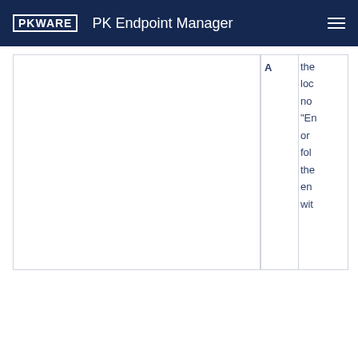PKWARE PK Endpoint Manager
|  | A | the
loc
no
"En
or
fol
the
en
wi |